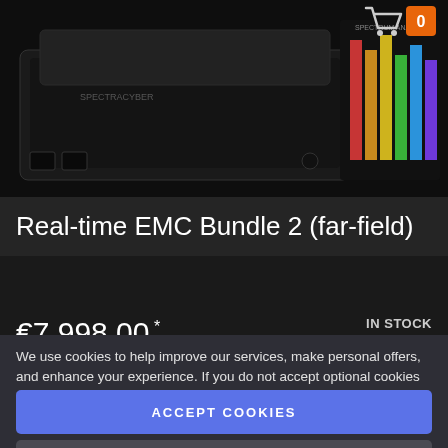[Figure (photo): Product photo of spectrum analyzer hardware devices on dark background, with colorful spectrum display card visible on the right side. Shopping cart icon with orange badge showing '0' in top right corner.]
Real-time EMC Bundle 2 (far-field)
€7,998.00 *
IN STOCK
SKU#: 104/006
We use cookies to help improve our services, make personal offers, and enhance your experience. If you do not accept optional cookies below, your experience may be affected. If you want to know more, please read the Cookie Policy.
ACCEPT COOKIES
CUSTOM SETTINGS